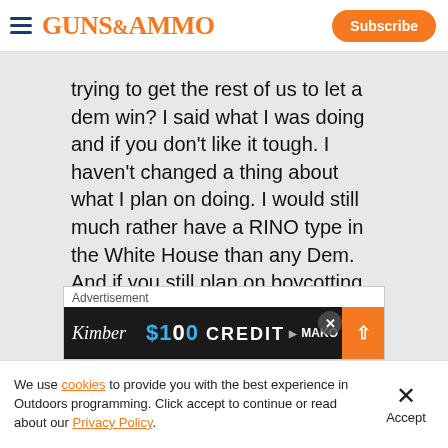GUNS&AMMO | Subscribe
trying to get the rest of us to let a dem win? I said what I was doing and if you don't like it tough. I haven't changed a thing about what I plan on doing. I would still much rather have a RINO type in the White House than any Dem. And if you still plan on boycotting the Rep Nominee if he/she doesn't fit your model then in my opinion you will help put a Dem in the WH which is the worst scenario out the
[Figure (screenshot): Advertisement banner: Kimber $100 Credit MAKO brand ad with close and expand buttons]
We use cookies to provide you with the best experience in Outdoors programming. Click accept to continue or read about our Privacy Policy.